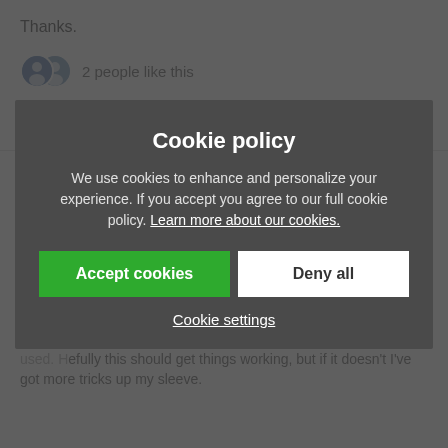Thanks.
2 people like this
Blastoise186  6 months ago
Hey @matheushen, Whoops, sorry about that! I think I can help you fix it though. I might be able to give you the option to re-open that box again and fix many things that...
Could you try going to the same site again in another browser window? If it works, do the same again in the original browser you used. Hopefully this should get things working, but if it doesn't I've got more tricks up my sleeve.
[Figure (screenshot): Cookie policy overlay dialog with Accept cookies and Deny all buttons, and Cookie settings link]
Cookie policy
We use cookies to enhance and personalize your experience. If you accept you agree to our full cookie policy. Learn more about our cookies.
Accept cookies  Deny all
Cookie settings